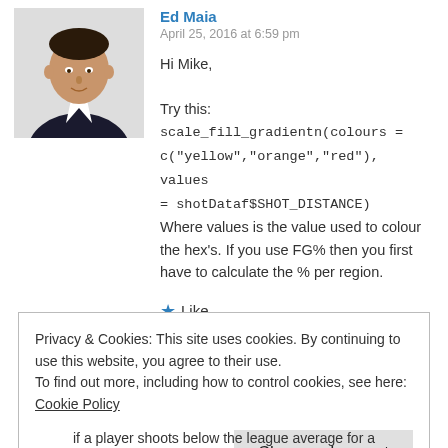[Figure (photo): Profile photo of Ed Maia, a man in a dark suit on a white background]
Ed Maia
April 25, 2016 at 6:59 pm

Hi Mike,

Try this:
scale_fill_gradientn(colours = c("yellow","orange","red"), values = shotDataf$SHOT_DISTANCE)
Where values is the value used to colour the hex's. If you use FG% then you first have to calculate the % per region.
★ Like
Reply
Privacy & Cookies: This site uses cookies. By continuing to use this website, you agree to their use.
To find out more, including how to control cookies, see here: Cookie Policy
Close and accept
if a player shoots below the league average for a